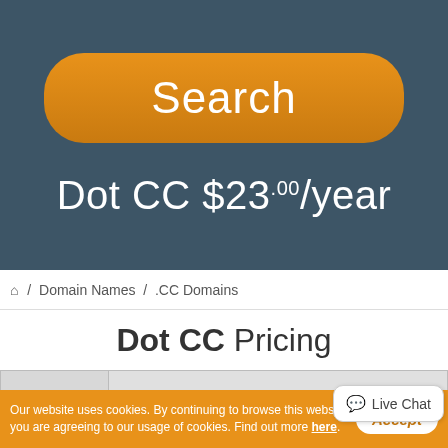[Figure (screenshot): Orange rounded Search button on dark blue-grey background]
Dot CC $23.00/year
/ Domain Names / .CC Domains
Dot CC Pricing
| TLD | 1 Year | 2 years | 3 years | 4 years | 5 years |
| --- | --- | --- | --- | --- | --- |
Our website uses cookies. By continuing to browse this website you are agreeing to our usage of cookies. Find out more here.